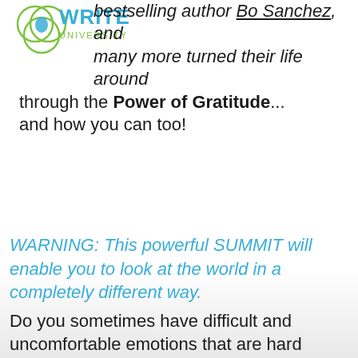[Figure (logo): Write University logo with overlapping circles in green/teal and blue text reading WRITE UNIVERSITY]
bestselling author Bo Sanchez, and many more turned their life around through the Power of Gratitude... and how you can too!
WARNING: This powerful SUMMIT will enable you to look at the world in a completely different way.
Do you sometimes have difficult and uncomfortable emotions that are hard